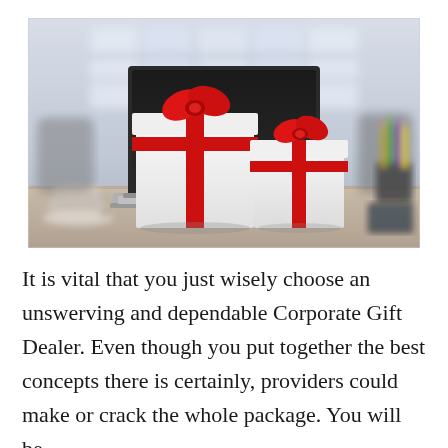[Figure (photo): Photo of two white gift boxes with red ribbons and bows sitting on a laptop keyboard, set on a desk in a blurred office environment with a coffee cup on the left and pencils in a holder on the right.]
It is vital that you just wisely choose an unswerving and dependable Corporate Gift Dealer. Even though you put together the best concepts there is certainly, providers could make or crack the whole package. You will be